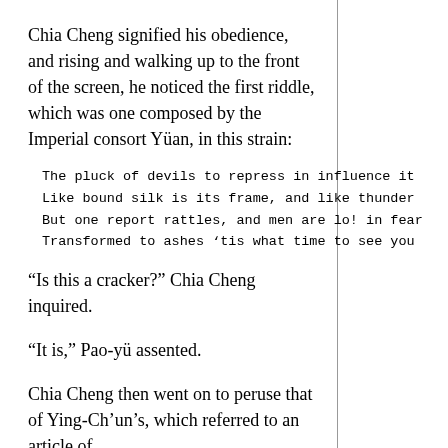Chia Cheng signified his obedience, and rising and walking up to the front of the screen, he noticed the first riddle, which was one composed by the Imperial consort Yüan, in this strain:
The pluck of devils to repress in influence it
Like bound silk is its frame, and like thunder
But one report rattles, and men are lo! in fear
Transformed to ashes 'tis what time to see you
“Is this a cracker?” Chia Cheng inquired.
“It is,” Pao-yü assented.
Chia Cheng then went on to peruse that of Ying-Ch’un’s, which referred to an article of